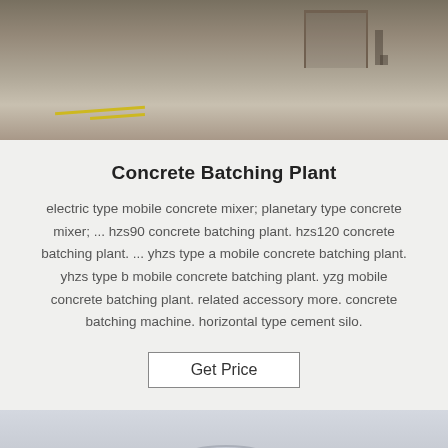[Figure (photo): Top portion of an industrial concrete equipment photo on a warehouse/factory floor with yellow lines visible]
Concrete Batching Plant
electric type mobile concrete mixer; planetary type concrete mixer; ... hzs90 concrete batching plant. hzs120 concrete batching plant. ... yhzs type a mobile concrete batching plant. yhzs type b mobile concrete batching plant. yzg mobile concrete batching plant. related accessory more. concrete batching machine. horizontal type cement silo.
Get Price
[Figure (photo): Front view of a concrete mixer truck against a light sky background]